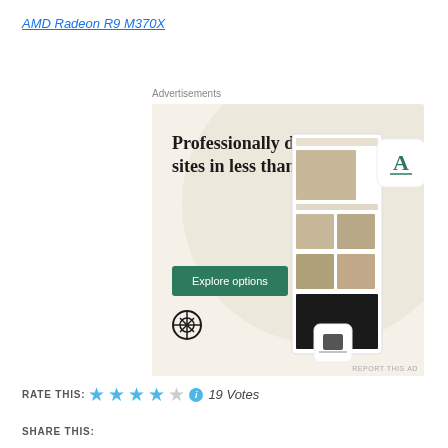AMD Radeon R9 M370X
Advertisements
[Figure (illustration): WordPress advertisement banner with cream/beige background showing text 'Professionally designed sites in less than a week', a green 'Explore options' button, WordPress logo, and mockup screenshots of a website on the right side. Small 'REPORT THIS AD' text at bottom right.]
RATE THIS: 19 Votes
SHARE THIS: